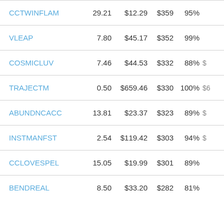| Name | Shares | Price | Value | Pct | Extra |
| --- | --- | --- | --- | --- | --- |
| CCTWINFLAM | 29.21 | $12.29 | $359 | 95% |  |
| VLEAP | 7.80 | $45.17 | $352 | 99% |  |
| COSMICLUV | 7.46 | $44.53 | $332 | 88% | $ |
| TRAJECTM | 0.50 | $659.46 | $330 | 100% | $6 |
| ABUNDNCACC | 13.81 | $23.37 | $323 | 89% | $ |
| INSTMANFST | 2.54 | $119.42 | $303 | 94% | $ |
| CCLOVESPEL | 15.05 | $19.99 | $301 | 89% |  |
| BENDREAL | 8.50 | $33.20 | $282 | 81% |  |